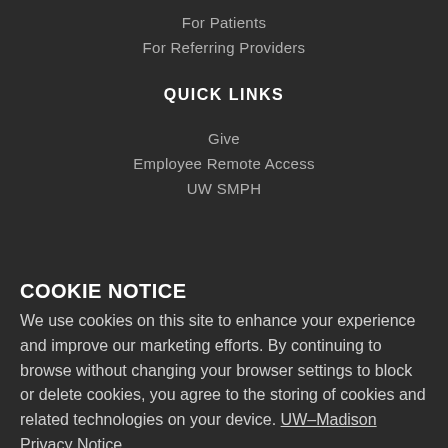For Patients
For Referring Providers
QUICK LINKS
Give
Employee Remote Access
UW SMPH
COOKIE NOTICE
We use cookies on this site to enhance your experience and improve our marketing efforts. By continuing to browse without changing your browser settings to block or delete cookies, you agree to the storing of cookies and related technologies on your device. UW–Madison Privacy Notice
GOT IT!